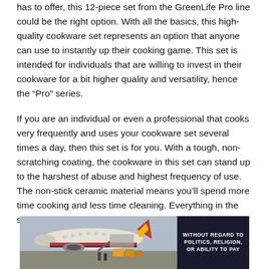has to offer, this 12-piece set from the GreenLife Pro line could be the right option. With all the basics, this high-quality cookware set represents an option that anyone can use to instantly up their cooking game. This set is intended for individuals that are willing to invest in their cookware for a bit higher quality and versatility, hence the “Pro” series.
If you are an individual or even a professional that cooks very frequently and uses your cookware set several times a day, then this set is for you. With a tough, non-scratching coating, the cookware in this set can stand up to the harshest of abuse and highest frequency of use. The non-stick ceramic material means you’ll spend more time cooking and less time cleaning. Everything in the set is completely dishwasher safe
[Figure (photo): Advertisement banner showing cargo plane being loaded, with text 'WITHOUT REGARD TO POLITICS, RELIGION, OR ABILITY TO PAY' on dark navy background]